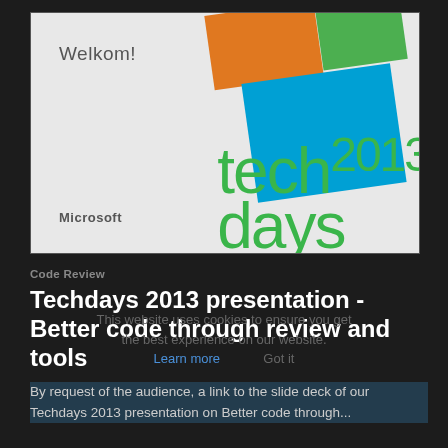[Figure (screenshot): Microsoft TechDays 2013 presentation slide showing 'Welkom!' text, Microsoft branding, Windows logo colored tiles (orange, green, blue) and 'tech2013days' text in green on a light gray background.]
Code Review
Techdays 2013 presentation - Better code through review and tools
By request of the audience, a link to the slide deck of our Techdays 2013 presentation on Better code through...